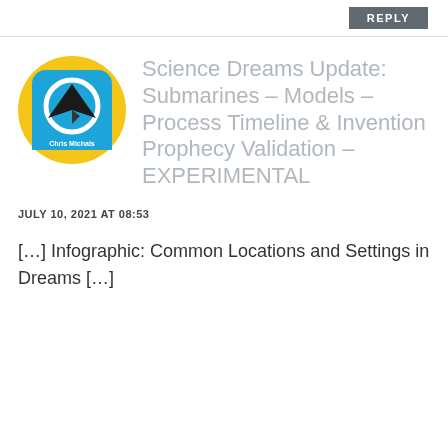REPLY
[Figure (logo): Science Dreams / Chris Michals logo: blue rounded square with white paper airplane and circular arrow, on yellow circle background, 'Chris Michals' text at bottom]
Science Dreams Update: Submarines – Models – Process Timeline & Invention Prophecy Validation – EXPERIMENTAL
JULY 10, 2021 AT 08:53
[…] Infographic: Common Locations and Settings in Dreams […]